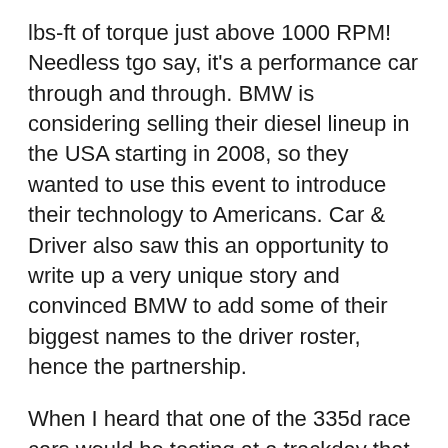lbs-ft of torque just above 1000 RPM! Needless tgo say, it's a performance car through and through. BMW is considering selling their diesel lineup in the USA starting in 2008, so they wanted to use this event to introduce their technology to Americans. Car & Driver also saw this an opportunity to write up a very unique story and convinced BMW to add some of their biggest names to the driver roster, hence the partnership.
When I heard that one of the 335d race cars would be testing at a trackday that I was already planning to attend, I got pretty excited. It's not every day that a person like me gets to drive on the same track at the same time as a car that is about to become as famous as these cars.
At the Thunderhill testing day, I waited until the 335d was in the paddock and approached with my camera in hand. I recognized the team manager, Marshall Pruett, from photos that I had seen. I introduced myself, and asked him if I could take some pics of the car and put them on my